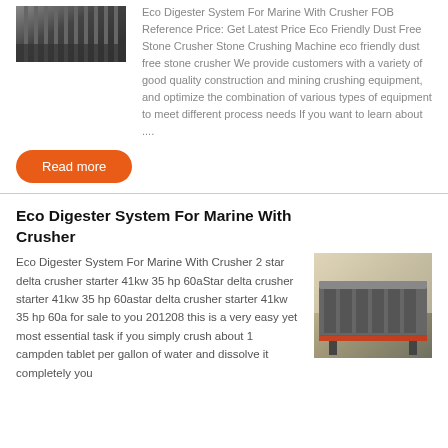[Figure (photo): Photo of machinery — crushed metal or industrial crusher equipment, dark gray tones]
Eco Digester System For Marine With Crusher FOB Reference Price: Get Latest Price Eco Friendly Dust Free Stone Crusher Stone Crushing Machine eco friendly dust free stone crusher We provide customers with a variety of good quality construction and mining crushing equipment, and optimize the combination of various types of equipment to meet different process needs If you want to learn about ....
Read more
Eco Digester System For Marine With Crusher
Eco Digester System For Marine With Crusher 2 star delta crusher starter 41kw 35 hp 60aStar delta crusher starter 41kw 35 hp 60astar delta crusher starter 41kw 35 hp 60a for sale to you 201208 this is a very easy yet most essential task if you simply crush about 1 campden tablet per gallon of water and dissolve it completely you
[Figure (photo): Photo of a large industrial conveyor or screening machine in a warehouse setting, steel frame with red accent]